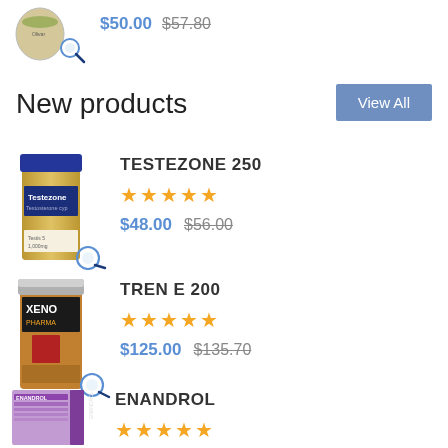[Figure (photo): Product vial/jar top portion with magnify icon]
$50.00  $57.80
New products
[Figure (photo): TESTEZONE 250 - blue-capped vial product]
TESTEZONE 250
★★★★★
$48.00  $56.00
[Figure (photo): TREN E 200 - XENO brand dark vial product]
TREN E 200
★★★★★
$125.00  $135.70
[Figure (photo): ENANDROL - purple/pink box product]
ENANDROL
★★★★★